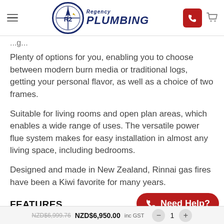Regency Plumbing
Plenty of options for you, enabling you to choose between modern burn media or traditional logs, getting your personal flavor, as well as a choice of two frames.
Suitable for living rooms and open plan areas, which enables a wide range of uses. The versatile power flue system makes for easy installation in almost any living space, including bedrooms.
Designed and made in New Zealand, Rinnai gas fires have been a Kiwi favorite for many years.
FEATURES
NZD$6,999.76  NZD$6,950.00 inc GST  1